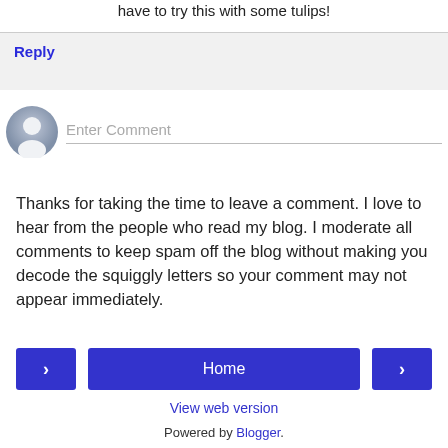have to try this with some tulips!
Reply
[Figure (other): User avatar circle icon (grey silhouette) and comment input field placeholder 'Enter Comment']
Thanks for taking the time to leave a comment. I love to hear from the people who read my blog. I moderate all comments to keep spam off the blog without making you decode the squiggly letters so your comment may not appear immediately.
‹   Home   ›
View web version
Powered by Blogger.